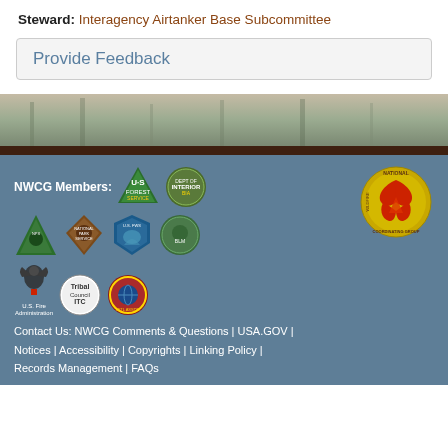Steward: Interagency Airtanker Base Subcommittee
Provide Feedback
[Figure (illustration): Forest/wildfire photo band showing trees in hazy background]
[Figure (illustration): NWCG member organization logos including USFS, BIA, NPS, FWS, BLM, US Fire Administration, ITC, and National Wildfire Coordinating Group logos]
Contact Us: NWCG Comments & Questions | USA.GOV | Notices | Accessibility | Copyrights | Linking Policy | Records Management | FAQs